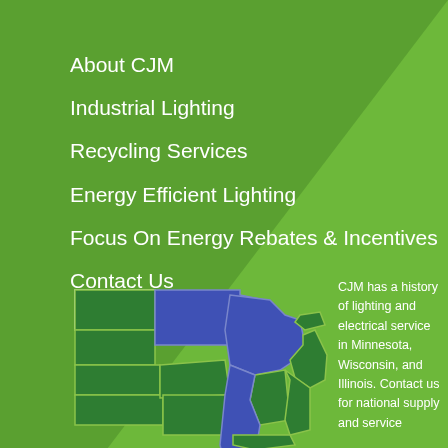About CJM
Industrial Lighting
Recycling Services
Energy Efficient Lighting
Focus On Energy Rebates & Incentives
Contact Us
[Figure (map): Map of Midwestern United States with Minnesota, Wisconsin, and Illinois highlighted in blue, surrounding states in dark green.]
CJM has a history of lighting and electrical service in Minnesota, Wisconsin, and Illinois. Contact us for national supply and service